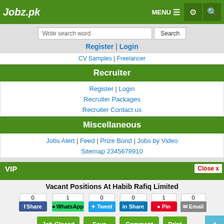Jobz.pk — MENU navigation header with settings and search icons
Write search word [Search button]
Register | Login
CV Samples | Freelancer
Recruiter
Register | Login
Recruiter Packages
Recruiter Contact us
Miscellaneous
Jobs Alert | Feed | Prize Bond | Jobs by Video
Sitemap 2345678910
VIP
Close x
Vacant Positions At Habib Rafiq Limited
Share counts: 0 (Facebook), 1 (WhatsApp), 0 (Tweet), 0 (LinkedIn Share), 1 (Pinterest Pin), 0 (Email)
Job Closed | Save | Comment | Print